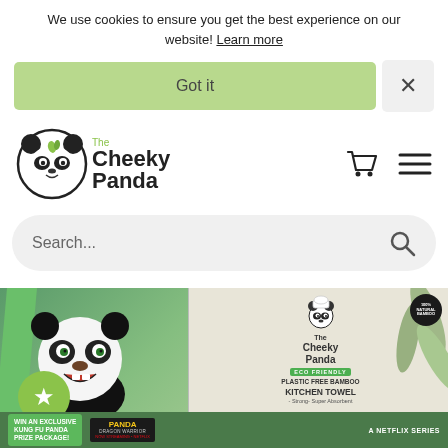We use cookies to ensure you get the best experience on our website! Learn more
[Figure (screenshot): Green 'Got it' button and X close button for cookie banner]
[Figure (logo): The Cheeky Panda logo with panda icon]
[Figure (screenshot): Search bar with placeholder text 'Search...' and search icon]
[Figure (photo): Hero image showing Kung Fu Panda character (Po) next to The Cheeky Panda Eco Friendly Plastic Free Bamboo Kitchen Towel product box, with star badge and promo for winning an exclusive Kung Fu Panda prize package, Netflix series branding]